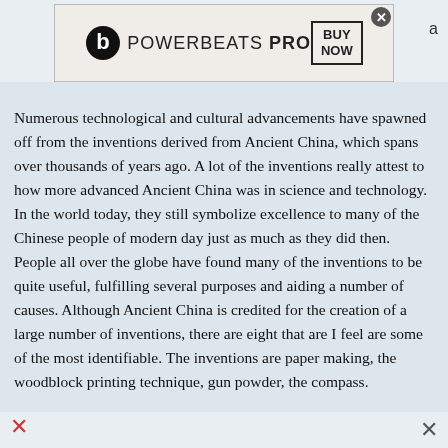[Figure (screenshot): Powerbeats PRO advertisement banner at top with Beats logo and BUY NOW box, with close X button]
Numerous technological and cultural advancements have spawned off from the inventions derived from Ancient China, which spans over thousands of years ago. A lot of the inventions really attest to how more advanced Ancient China was in science and technology. In the world today, they still symbolize excellence to many of the Chinese people of modern day just as much as they did then. People all over the globe have found many of the inventions to be quite useful, fulfilling several purposes and aiding a number of causes. Although Ancient China is credited for the creation of a large number of inventions, there are eight that are I feel are some of the most identifiable. The inventions are paper making, the woodblock printing technique, gun powder, the compass.
[Figure (screenshot): Powerbeats PRO advertisement banner at bottom with Beats logo and BUY NOW box]